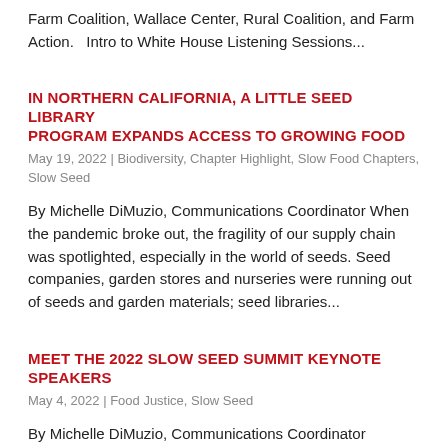Farm Coalition, Wallace Center, Rural Coalition, and Farm Action.   Intro to White House Listening Sessions...
IN NORTHERN CALIFORNIA, A LITTLE SEED LIBRARY PROGRAM EXPANDS ACCESS TO GROWING FOOD
May 19, 2022 | Biodiversity, Chapter Highlight, Slow Food Chapters, Slow Seed
By Michelle DiMuzio, Communications Coordinator When the pandemic broke out, the fragility of our supply chain was spotlighted, especially in the world of seeds. Seed companies, garden stores and nurseries were running out of seeds and garden materials; seed libraries...
MEET THE 2022 SLOW SEED SUMMIT KEYNOTE SPEAKERS
May 4, 2022 | Food Justice, Slow Seed
By Michelle DiMuzio, Communications Coordinator